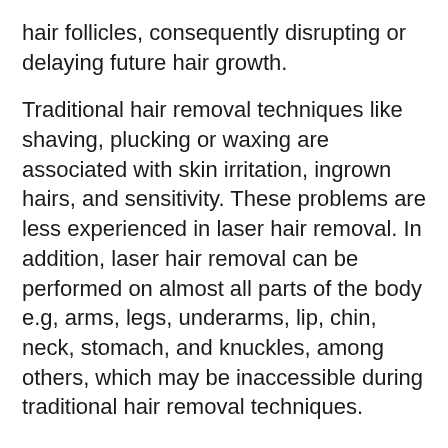hair follicles, consequently disrupting or delaying future hair growth.
Traditional hair removal techniques like shaving, plucking or waxing are associated with skin irritation, ingrown hairs, and sensitivity. These problems are less experienced in laser hair removal. In addition, laser hair removal can be performed on almost all parts of the body e.g, arms, legs, underarms, lip, chin, neck, stomach, and knuckles, among others, which may be inaccessible during traditional hair removal techniques.